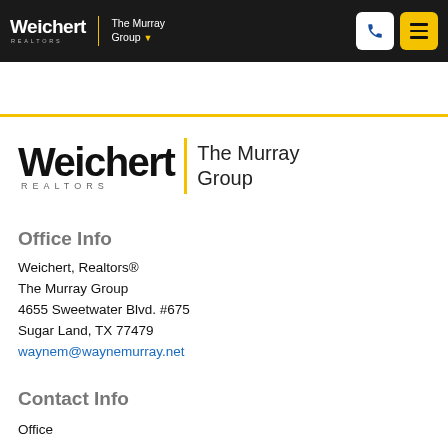Weichert REALTORS | The Murray Group
[Figure (logo): Weichert Realtors – The Murray Group logo with yellow vertical bar separator]
Office Info
Weichert, Realtors®
The Murray Group
4655 Sweetwater Blvd. #675
Sugar Land, TX 77479
waynem@waynemurray.net
Contact Info
Office